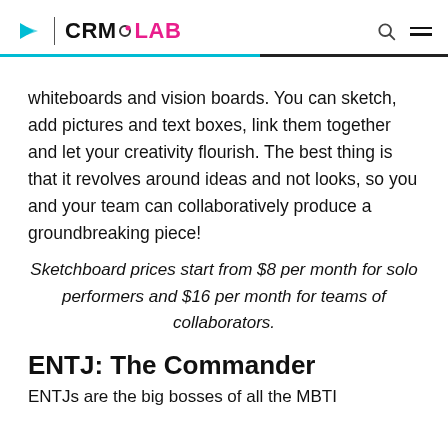CRM LAB
whiteboards and vision boards. You can sketch, add pictures and text boxes, link them together and let your creativity flourish. The best thing is that it revolves around ideas and not looks, so you and your team can collaboratively produce a groundbreaking piece!
Sketchboard prices start from $8 per month for solo performers and $16 per month for teams of collaborators.
ENTJ: The Commander
ENTJs are the big bosses of all the MBTI